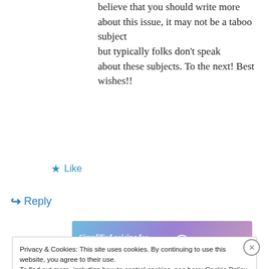believe that you should write more about this issue, it may not be a taboo subject but typically folks don't speak about these subjects. To the next! Best wishes!!
★ Like
↪ Reply
[Figure (screenshot): WordPress.com advertisement banner: 'Simplified pricing for everything you need.' with WordPress.com logo]
Privacy & Cookies: This site uses cookies. By continuing to use this website, you agree to their use. To find out more, including how to control cookies, see here: Cookie Policy
Close and accept